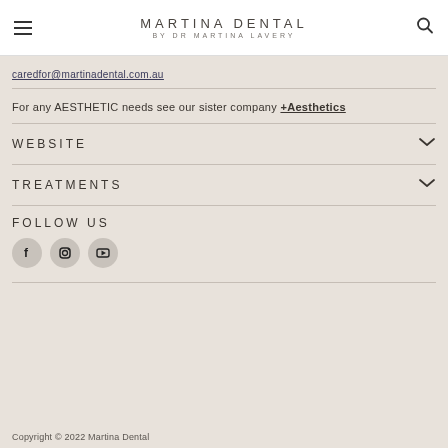MARTINA DENTAL BY DR MARTINA LAVERY
caredfor@martinadental.com.au
For any AESTHETIC needs see our sister company +Aesthetics
WEBSITE
TREATMENTS
FOLLOW US
[Figure (other): Social media icons: Facebook, Instagram, YouTube in grey circles]
Copyright © 2022 Martina Dental